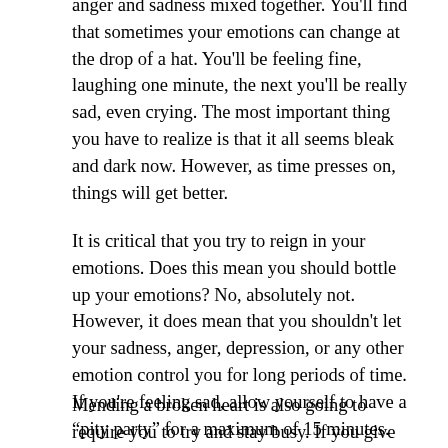anger and sadness mixed together.  You'll find that sometimes your emotions can change at the drop of a hat.  You'll be feeling fine, laughing one minute, the next you'll be really sad, even crying.   The most important thing you have to realize is that it all seems bleak and dark now.  However, as time presses on, things will get better.
It is critical that you try to reign in your emotions.  Does this mean you should bottle up your emotions?  No, absolutely not.  However, it does mean that you shouldn't let your sadness, anger, depression, or any other emotion control you for long periods of time. If you're feeling sad, allow yourself to have a “pity party” for a maximum of 15 minutes.  Then, say to yourself “Okay, that’s enough.  It's time to stop.
Mending a broken heart is also going to require you to try and stay busy.  If you give your mind a lot of idle time to think, it will probably want to think about your break up.  This isn’t good.  Try to keep your mind and body active.  You probably won’t feel like doing this very much, but its